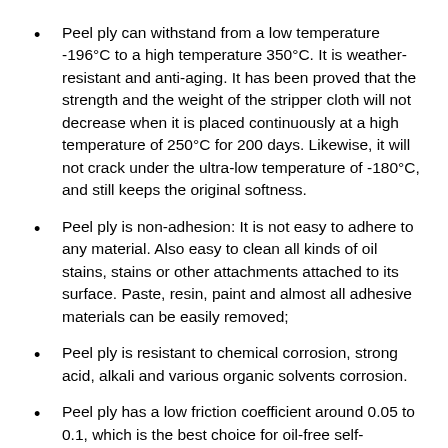Peel ply can withstand from a low temperature -196°C to a high temperature 350°C. It is weather-resistant and anti-aging. It has been proved that the strength and the weight of the stripper cloth will not decrease when it is placed continuously at a high temperature of 250°C for 200 days. Likewise, it will not crack under the ultra-low temperature of -180°C, and still keeps the original softness.
Peel ply is non-adhesion: It is not easy to adhere to any material. Also easy to clean all kinds of oil stains, stains or other attachments attached to its surface. Paste, resin, paint and almost all adhesive materials can be easily removed;
Peel ply is resistant to chemical corrosion, strong acid, alkali and various organic solvents corrosion.
Peel ply has a low friction coefficient around 0.05 to 0.1, which is the best choice for oil-free self-